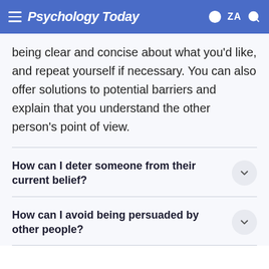Psychology Today
being clear and concise about what you'd like, and repeat yourself if necessary. You can also offer solutions to potential barriers and explain that you understand the other person's point of view.
How can I deter someone from their current belief?
How can I avoid being persuaded by other people?